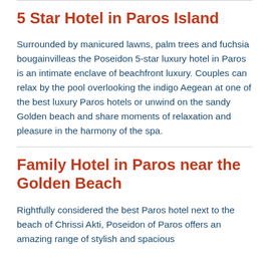5 Star Hotel in Paros Island
Surrounded by manicured lawns, palm trees and fuchsia bougainvilleas the Poseidon 5-star luxury hotel in Paros is an intimate enclave of beachfront luxury. Couples can relax by the pool overlooking the indigo Aegean at one of the best luxury Paros hotels or unwind on the sandy Golden beach and share moments of relaxation and pleasure in the harmony of the spa.
Family Hotel in Paros near the Golden Beach
Rightfully considered the best Paros hotel next to the beach of Chrissi Akti, Poseidon of Paros offers an amazing range of stylish and spacious